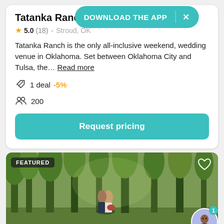Tatanka Ranch
5.0 (18) · Stroud, OK
Tatanka Ranch is the only all-inclusive weekend, wedding venue in Oklahoma. Set between Oklahoma City and Tulsa, the… Read more
1 deal  -5%
200
Request pricing
[Figure (photo): Outdoor wedding venue photo showing a couple embracing under tall trees with green foliage, FEATURED badge in top-left corner, heart icon in top-right corner]
DOWNLOAD THE APP  ×